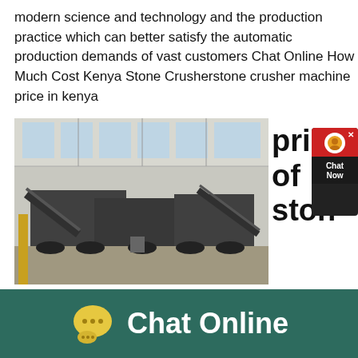modern science and technology and the production practice which can better satisfy the automatic production demands of vast customers Chat Online How Much Cost Kenya Stone Crusherstone crusher machine price in kenya
[Figure (photo): Factory floor showing large industrial stone crusher machines on wheeled platforms inside a large industrial building with tall windows]
price of stone
[Figure (infographic): Chat widget overlay with red header, X close button, circular logo icon, and 'Chat Now' button on dark background]
[Figure (infographic): Bottom banner with dark teal background showing a yellow speech bubble chat icon and 'Chat Online' text in white]